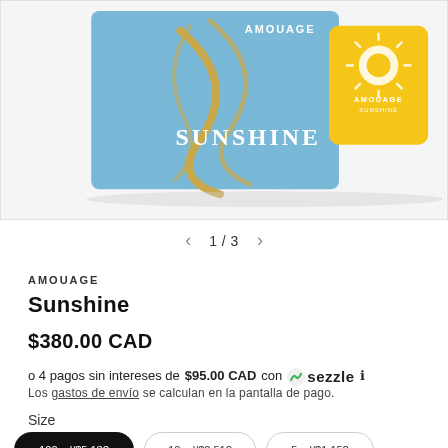[Figure (photo): Product photo of Amouage Sunshine perfume — a blue box with gold lettering and a yellow square perfume bottle with sun emblem]
1 / 3
AMOUAGE
Sunshine
$380.00 CAD
o 4 pagos sin intereses de $95.00 CAD con Sezzle ℹ
Los gastos de envío se calculan en la pantalla de pago.
Size
100 ml/$5.13? / 10 ml/$2.51? / 5 ml/$1.15?